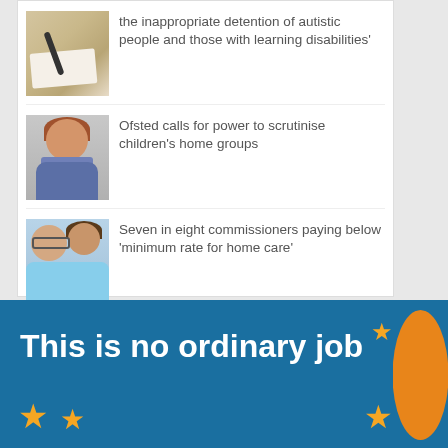the inappropriate detention of autistic people and those with learning disabilities'
[Figure (photo): Hands writing on paper with a pen]
Ofsted calls for power to scrutinise children's home groups
[Figure (photo): Woman with short reddish hair smiling, wearing a blue/purple scarf]
Seven in eight commissioners paying below 'minimum rate for home care'
[Figure (photo): Elderly man with glasses and a younger female carer in blue uniform]
This is no ordinary job